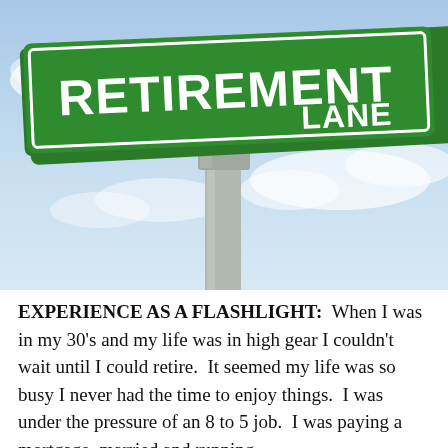[Figure (photo): A green street sign reading 'RETIREMENT LANE' on a metal pole against a blue sky with light clouds]
EXPERIENCE AS A FLASHLIGHT:  When I was in my 30's and my life was in high gear I couldn't wait until I could retire.  It seemed my life was so busy I never had the time to enjoy things.  I was under the pressure of an 8 to 5 job.  I was paying a mortgage, married and running